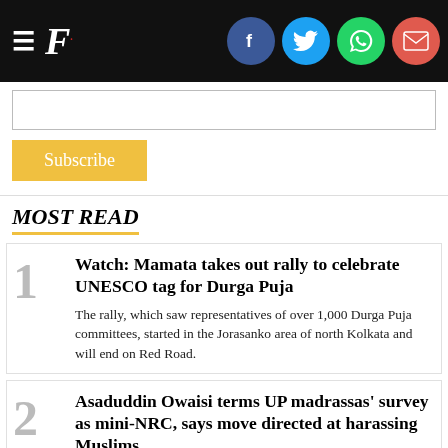F. [Firstpost logo with social sharing icons: Facebook, Twitter, WhatsApp, Email]
[Email subscribe input field]
Subscribe
MOST READ
Watch: Mamata takes out rally to celebrate UNESCO tag for Durga Puja
The rally, which saw representatives of over 1,000 Durga Puja committees, started in the Jorasanko area of north Kolkata and will end on Red Road.
Asaduddin Owaisi terms UP madrassas' survey as mini-NRC, says move directed at harassing Muslims
"Madrassas are as per Article 30 then why UP government has ordered the survey?... Government can't interfere with our rights under Article 30. They